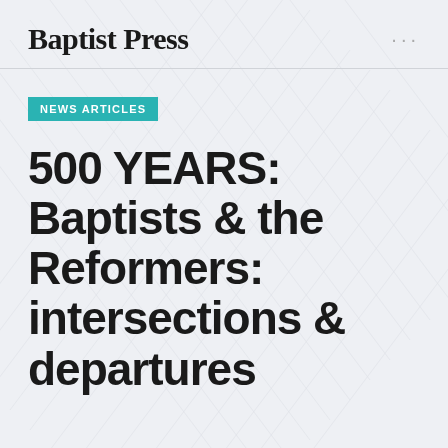Baptist Press
NEWS ARTICLES
500 YEARS: Baptists & the Reformers: intersections & departures